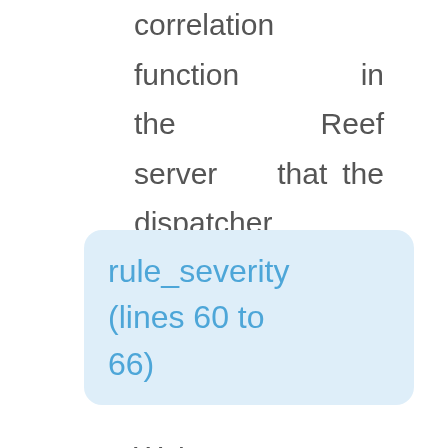correlation function in the Reef server that the dispatcher sends the ReefEvent to.
rule_severity (lines 60 to 66)
We've decided that all traps that have a community string value of private should have